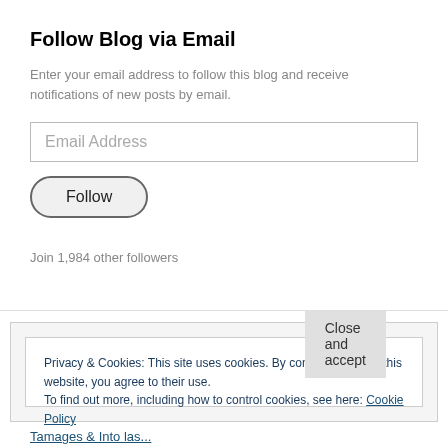Follow Blog via Email
Enter your email address to follow this blog and receive notifications of new posts by email.
Email Address
Follow
Join 1,984 other followers
Privacy & Cookies: This site uses cookies. By continuing to use this website, you agree to their use. To find out more, including how to control cookies, see here: Cookie Policy
Close and accept
Tamages & Into las...